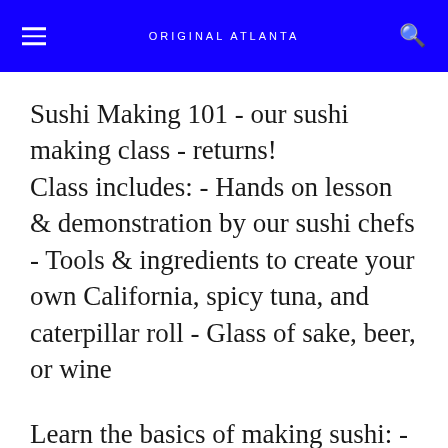ORIGINAL ATLANTA
Sushi Making 101 - our sushi making class - returns! Class includes: - Hands on lesson & demonstration by our sushi chefs - Tools & ingredients to create your own California, spicy tuna, and caterpillar roll - Glass of sake, beer, or wine
Learn the basics of making sushi: - Preparing sushi rice